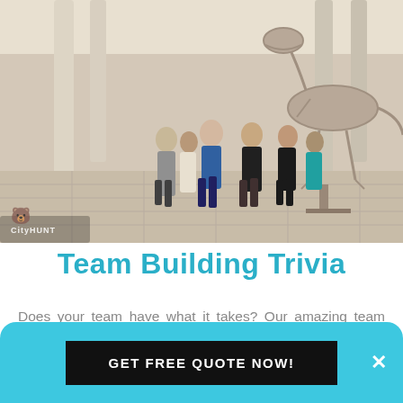[Figure (photo): Group of people running/posing enthusiastically in a museum hall with tall columns and a T-rex dinosaur skeleton in the background. A small bear logo watermark and 'CityHUNT' text appear in the bottom-left corner.]
Team Building Trivia
Does your team have what it takes? Our amazing team building trivia games in Davie that are packed with tricky questions and clues, designed to put those critical thinking skills to good use! Compete against your colleagues and the clock to see which
GET FREE QUOTE NOW!